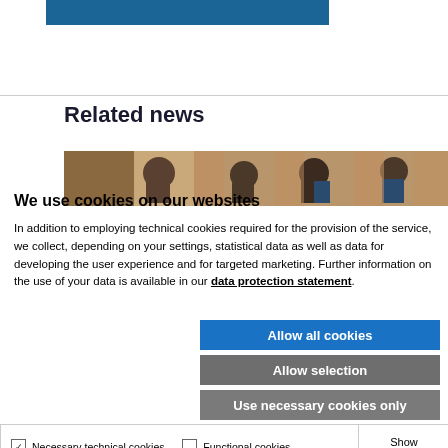[Figure (screenshot): Blue navigation banner at top of webpage]
Related news
[Figure (photo): Photo strip showing several people in suits in a hallway or corridor]
We use cookies on our websites
In addition to employing technical cookies required for the provision of the service, we collect, depending on your settings, statistical data as well as data for developing the user experience and for targeted marketing. Further information on the use of your data is available in our data protection statement.
Allow all cookies
Allow selection
Use necessary cookies only
Necessary technical cookies  Functional cookies  Statistics cookies  Marketing cookies  Show details